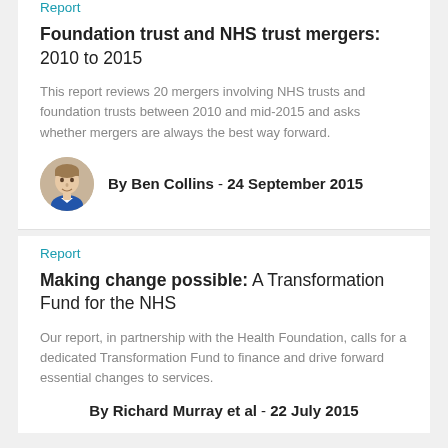Report
Foundation trust and NHS trust mergers: 2010 to 2015
This report reviews 20 mergers involving NHS trusts and foundation trusts between 2010 and mid-2015 and asks whether mergers are always the best way forward.
By Ben Collins - 24 September 2015
Report
Making change possible: A Transformation Fund for the NHS
Our report, in partnership with the Health Foundation, calls for a dedicated Transformation Fund to finance and drive forward essential changes to services.
By Richard Murray et al - 22 July 2015